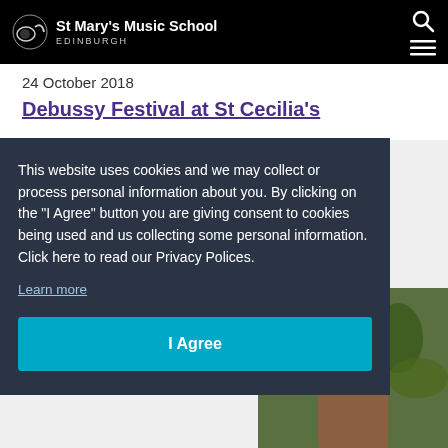St Mary's Music School EDINBURGH
24 October 2018
Debussy Festival at St Cecilia's
ival
This website uses cookies and we may collect or process personal information about you. By clicking on the "I Agree" button you are giving consent to cookies being used and us collecting some personal information. Click here to read our Privacy Polices.
Learn more
I Agree
[Figure (photo): Partial photo of a person outdoors with green foliage background]